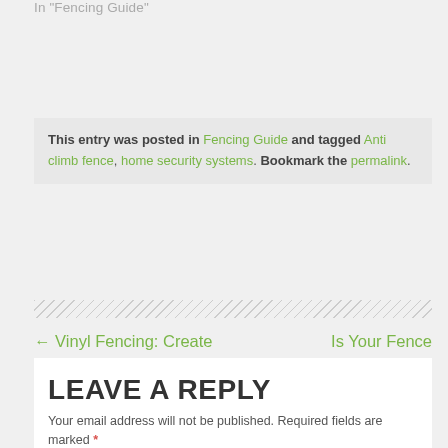In "Fencing Guide"
This entry was posted in Fencing Guide and tagged Anti climb fence, home security systems. Bookmark the permalink.
← Vinyl Fencing: Create Stunning Looks for Your Exterior
Is Your Fence Weatherproof? 5 Tips to Ensure It →
LEAVE A REPLY
Your email address will not be published. Required fields are marked *
NAME *